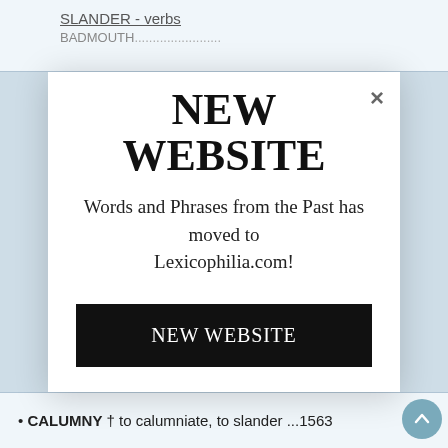SLANDER - verbs
BADMOUTH...
NEW WEBSITE
Words and Phrases from the Past has moved to Lexicophilia.com!
NEW WEBSITE
• CALUMNY † to calumniate, to slander ...1563